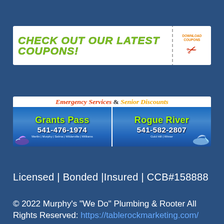[Figure (infographic): White banner advertisement reading CHECK OUT OUR LATEST COUPONS! in large yellow-green italic bold text, with a download coupons icon and red scissors on the right side.]
[Figure (infographic): Service area banner showing Emergency Services & Senior Discounts at top, then two columns: Grants Pass 541-476-1974 (Merlin, Murphy, Selma, Wilderville, Williams) and Rogue River 541-582-2807 (Gold Hill, Wimer), with fish splash graphics on blue gradient background.]
Licensed | Bonded |Insured | CCB#158888
© 2022 Murphy's "We Do" Plumbing & Rooter All Rights Reserved: https://tablerockmarketing.com/